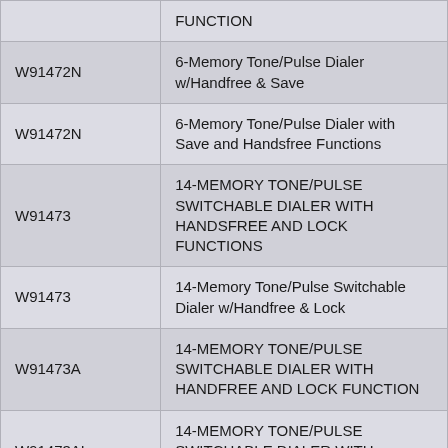|  | FUNCTION |
| --- | --- |
| W91472N | 6-Memory Tone/Pulse Dialer w/Handfree & Save |
| W91472N | 6-Memory Tone/Pulse Dialer with Save and Handsfree Functions |
| W91473 | 14-MEMORY TONE/PULSE SWITCHABLE DIALER WITH HANDSFREE AND LOCK FUNCTIONS |
| W91473 | 14-Memory Tone/Pulse Switchable Dialer w/Handfree & Lock |
| W91473A | 14-MEMORY TONE/PULSE SWITCHABLE DIALER WITH HANDFREE AND LOCK FUNCTION |
| W91473AL | 14-MEMORY TONE/PULSE SWITCHABLE DIALER WITH HANDFREE AND LOCK FUNCTION |
| W91473B | 14-MEMORY TONE/PULSE SWITCHABLE DIALER WITH HANDFREE AND LOCK FUNCTION |
|  | 14-MEMORY TONE/PULSE |